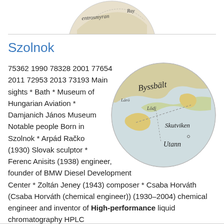[Figure (illustration): Top partial view of a circular map illustration, cropped at top of page]
Szolnok
[Figure (map): Circular cropped historical map showing place names including Byssbält, Skutviken, Utann, and other Swedish/Nordic geographic labels in old-style cartographic script with colored land areas]
75362 1990 78328 2001 77654 2011 72953 2013 73193 Main sights * Bath * Museum of Hungarian Aviation * Damjanich János Museum Notable people Born in Szolnok * Arpád Račko (1930) Slovak sculptor * Ferenc Anisits (1938) engineer, founder of BMW Diesel Development Center * Zoltán Jeney (1943) composer * Csaba Horváth (Csaba Horváth (chemical engineer)) (1930–2004) chemical engineer and inventor of High-performance liquid chromatography HPLC